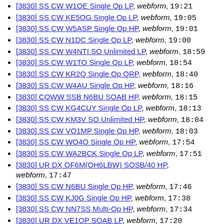[3830] SS CW W1OE Single Op LP, webform, 19:21
[3830] SS CW KE5OG Single Op LP, webform, 19:05
[3830] SS CW W5ASP Single Op HP, webform, 19:01
[3830] SS CW N1DC Single Op LP, webform, 19:00
[3830] SS CW W4NTI SO Unlimited LP, webform, 18:59
[3830] SS CW W1TO Single Op LP, webform, 18:54
[3830] SS CW KR2Q Single Op QRP, webform, 18:40
[3830] SS CW W4AU Single Op HP, webform, 18:16
[3830] CQWW SSB N6BU SOAB HP, webform, 18:15
[3830] SS CW KG4CUY Single Op LP, webform, 18:13
[3830] SS CW KM3V SO Unlimited HP, webform, 18:04
[3830] SS CW VO1MP Single Op HP, webform, 18:03
[3830] SS CW WO4O Single Op HP, webform, 17:54
[3830] SS CW WA2BCK Single Op LP, webform, 17:51
[3830] UR DX OF6M(OH6LBW) SOSB/40 HP, webform, 17:47
[3830] SS CW N6BU Single Op HP, webform, 17:46
[3830] SS CW KJ0G Single Op HP, webform, 17:38
[3830] SS CW NN7SS Multi-Op HP, webform, 17:34
[3830] UR DX VE1OP SOAB LP, webform, 17:20
[3830] SS CW K3KU Single Op LP, webform, 17:16
[3830] SS CW VE1OP SO Unlimited HP, webform, 17:11
[3830] SS CW KL8C(K6VVA) SO Unlimited HP, webform, 17:08
[3830] SS CW K6DEX Single Op LP, webform, 17:08
[3830] SS CW W1ERI Single Op HP, webform, 17:03